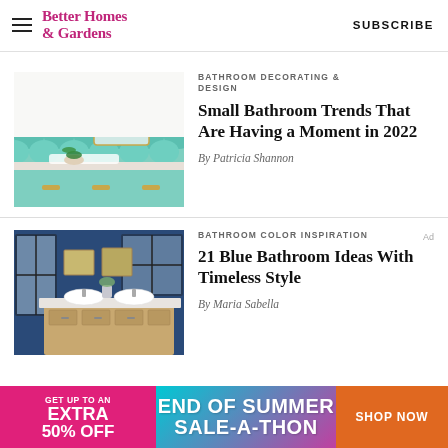Better Homes & Gardens | SUBSCRIBE
[Figure (photo): Bathroom with teal/mint fish-scale tile on lower walls, teal cabinetry with gold hardware, white countertop with plant and mirror]
BATHROOM DECORATING & DESIGN
Small Bathroom Trends That Are Having a Moment in 2022
By Patricia Shannon
[Figure (photo): Blue bathroom with dark navy blue walls, wood vanity with white vessel sinks, framed artwork, window with dark frame]
BATHROOM COLOR INSPIRATION
21 Blue Bathroom Ideas With Timeless Style
By Maria Sabella
[Figure (infographic): Advertisement banner: GET UP TO AN EXTRA 50% OFF | END OF SUMMER SALE-A-THON | SHOP NOW]